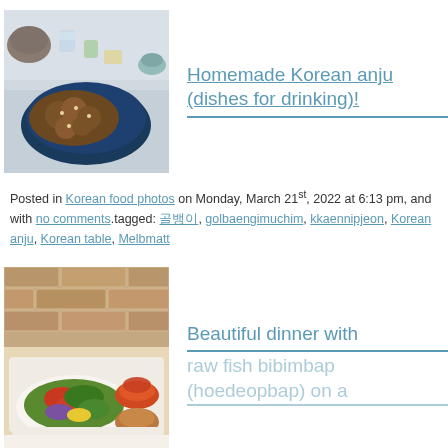[Figure (photo): Photo of Korean anju dishes on a blue plate with various side dishes on a table]
Homemade Korean anju (dishes for drinking)!
Posted in Korean food photos on Monday, March 21st, 2022 at 6:13 pm, and with no comments.tagged: 골뱅이, golbaengimuchim, kkaennipjeon, Korean anju, Korean table, Melbmatt
[Figure (photo): Photo of raw fish bibimbap (hoedeopbap) with colorful toppings, lettuce and dipping sauce bowls on a table with brick wall background]
Beautiful dinner with raw fish bibimbap (hoedeopbap) on a